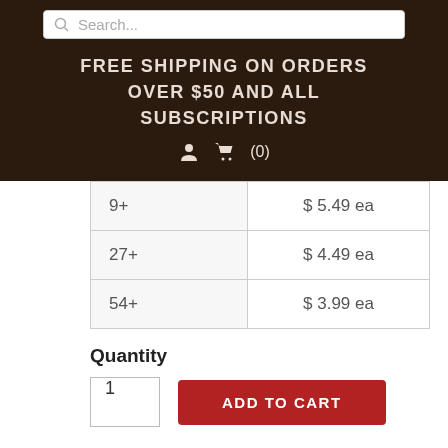Search...
FREE SHIPPING ON ORDERS OVER $50 AND ALL SUBSCRIPTIONS
🧑 🛒 (0)
| 9+ | $ 5.49 ea |
| 27+ | $ 4.49 ea |
| 54+ | $ 3.99 ea |
Quantity
1   ADD TO CART
Collection:  dark chocolate bars